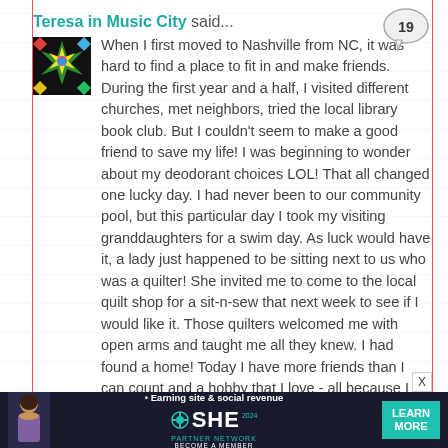Teresa in Music City said...
[Figure (illustration): Quilting pattern avatar icon: dark background with colorful star/flower quilt block design in green, yellow, blue, pink, white]
When I first moved to Nashville from NC, it was hard to find a place to fit in and make friends. During the first year and a half, I visited different churches, met neighbors, tried the local library book club. But I couldn't seem to make a good friend to save my life! I was beginning to wonder about my deodorant choices LOL! That all changed one lucky day. I had never been to our community pool, but this particular day I took my visiting granddaughters for a swim day. As luck would have it, a lady just happened to be sitting next to us who was a quilter! She invited me to come to the local quilt shop for a sit-n-sew that next week to see if I would like it. Those quilters welcomed me with open arms and taught me all they knew. I had found a home! Today I have more friends than I can count and a hobby that I love - all because I chose to visit the pool that lucky day!
[Figure (illustration): Speech bubble icon with number 19 inside]
[Figure (infographic): SHE Partner Network advertisement banner: woman photo, bullet point saying Earning site and social revenue, SHE MEDIA logo, PARTNER NETWORK, BECOME A MEMBER text, teal LEARN MORE button]